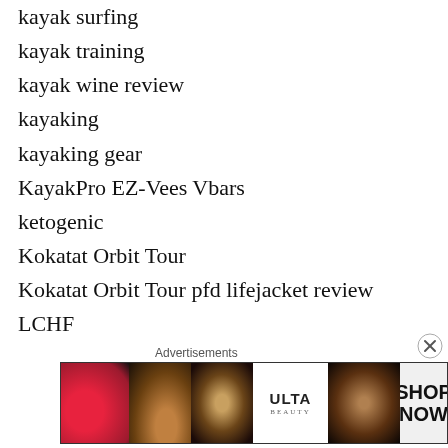kayak surfing
kayak training
kayak wine review
kayaking
kayaking gear
KayakPro EZ-Vees Vbars
ketogenic
Kokatat Orbit Tour
Kokatat Orbit Tour pfd lifejacket review
LCHF
Lehigh Classic
Lemfo LT02
LETSCOM HR fitness tracker
Little D on the Monocacy
lost kayak
[Figure (other): Ulta Beauty advertisement banner with makeup/cosmetics imagery and SHOP NOW call to action]